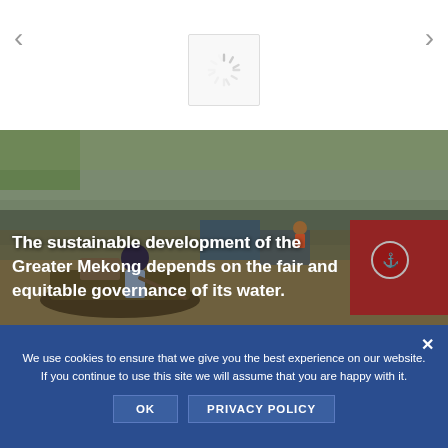[Figure (other): Loading spinner icon in white box, with left and right navigation arrows on either side]
[Figure (photo): Photo of a person rowing a wooden boat on a river with other boats and a floating market in the background (Greater Mekong region). White bold text overlay reads: The sustainable development of the Greater Mekong depends on the fair and equitable governance of its water.]
We use cookies to ensure that we give you the best experience on our website. If you continue to use this site we will assume that you are happy with it.
OK   PRIVACY POLICY